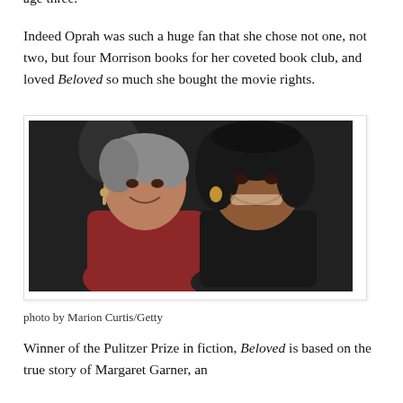Fran Lebowitz), the fact that she excelled at typing when young, and like her biggest fan Oprah, she learned to read by age three.
Indeed Oprah was such a huge fan that she chose not one, not two, but four Morrison books for her coveted book club, and loved Beloved so much she bought the movie rights.
[Figure (photo): Photo of Toni Morrison and Oprah Winfrey together, both smiling. Toni Morrison is on the left with grey hair wearing a red outfit. Oprah Winfrey is on the right with dark hair, wearing dark clothing and earrings.]
photo by Marion Curtis/Getty
Winner of the Pulitzer Prize in fiction, Beloved is based on the true story of Margaret Garner, an